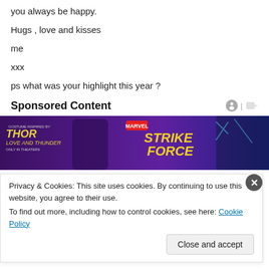you always be happy.
Hugs , love and kisses
me
xxx
ps what was your highlight this year ?
Sponsored Content
[Figure (photo): Marvel Thor: Love and Thunder / Marvel Strike Force promotional banner ad with animated characters]
Privacy & Cookies: This site uses cookies. By continuing to use this website, you agree to their use.
To find out more, including how to control cookies, see here: Cookie Policy